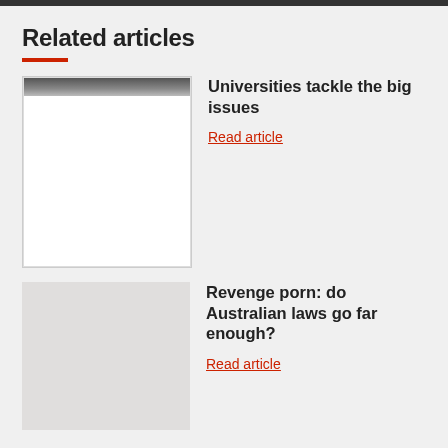Related articles
[Figure (photo): Light colored framed image, mostly white with a dark strip at the top, resembling a tablet or picture frame]
Universities tackle the big issues
Read article
[Figure (photo): Photo of a dark hand reaching upward against a white/light background]
Revenge porn: do Australian laws go far enough?
Read article